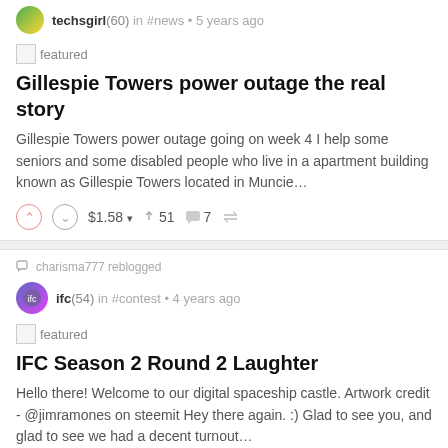techsgirl (60) in #news • 5 years ago
[Figure (other): featured image placeholder]
Gillespie Towers power outage the real story
Gillespie Towers power outage going on week 4 I help some seniors and some disabled people who live in a apartment building known as Gillespie Towers located in Muncie…
$1.58 ▾  51  7
charisma777 reblogged
ifc (54) in #contest • 4 years ago
[Figure (other): featured image placeholder]
IFC Season 2 Round 2 Laughter
Hello there! Welcome to our digital spaceship castle. Artwork credit - @jimramones on steemit Hey there again. :) Glad to see you, and glad to see we had a decent turnout…
$0.68 ▾  40  10
charisma777 reblogged